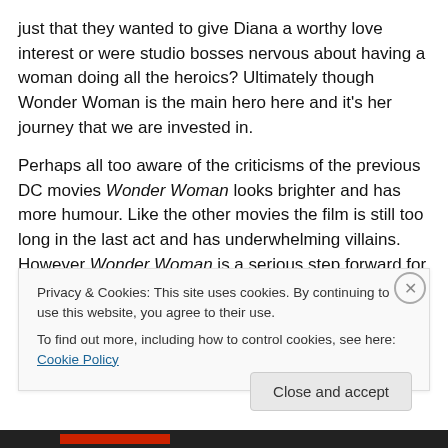just that they wanted to give Diana a worthy love interest or were studio bosses nervous about having a woman doing all the heroics? Ultimately though Wonder Woman is the main hero here and it’s her journey that we are invested in.
Perhaps all too aware of the criticisms of the previous DC movies Wonder Woman looks brighter and has more humour. Like the other movies the film is still too long in the last act and has underwhelming villains. However Wonder Woman is a serious step forward for the DC extended universe. Let’s just hope the upward trend
Privacy & Cookies: This site uses cookies. By continuing to use this website, you agree to their use.
To find out more, including how to control cookies, see here: Cookie Policy
Close and accept